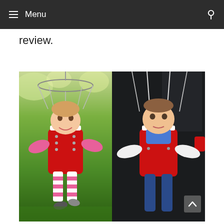Menu
review.
[Figure (photo): Two photos side by side of babies/toddlers in red harness jumper swings. Left photo shows a smiling baby girl with blonde hair in a pink jacket and striped leggings, suspended in a red harness with a wire frame above, outdoors on a green grassy background. Right photo shows a toddler boy in a white shirt and blue pants in the same red harness, photographed in a darker outdoor setting.]